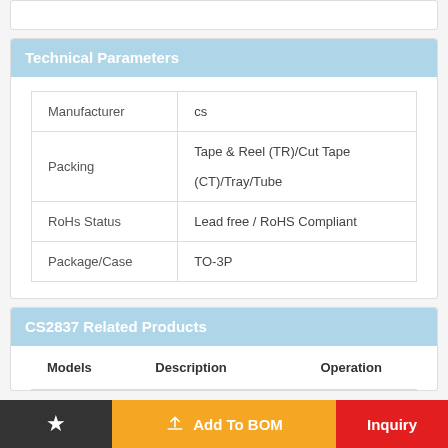Technical Parameters
|  |  |
| --- | --- |
| Manufacturer | cs |
| Packing | Tape & Reel (TR)/Cut Tape (CT)/Tray/Tube |
| RoHs Status | Lead free / RoHS Compliant |
| Package/Case | TO-3P |
CS2837 Related Products
| Models | Description | Operation |
| --- | --- | --- |